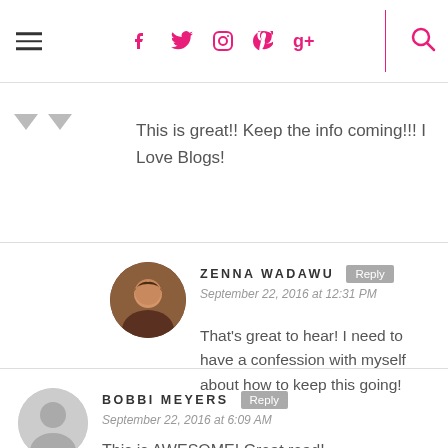Navigation header with hamburger menu, social icons (Facebook, Twitter, Instagram, Pinterest, Google+), and search icon
This is great!! Keep the info coming!!! I Love Blogs!
ZENNA WADAWU
September 22, 2016 at 12:31 PM
That's great to hear! I need to have a confession with myself about how to keep this going!
BOBBI MEYERS
September 22, 2016 at 6:09 AM
This is AWESOME! Great read!